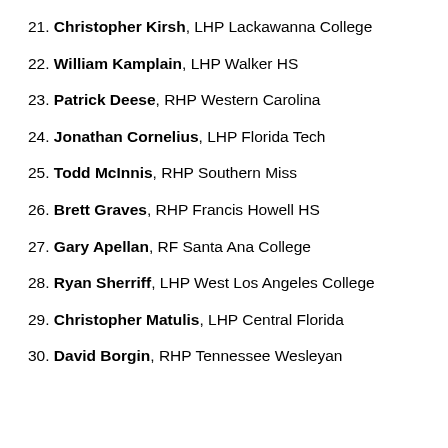21. Christopher Kirsh, LHP Lackawanna College
22. William Kamplain, LHP Walker HS
23. Patrick Deese, RHP Western Carolina
24. Jonathan Cornelius, LHP Florida Tech
25. Todd McInnis, RHP Southern Miss
26. Brett Graves, RHP Francis Howell HS
27. Gary Apellan, RF Santa Ana College
28. Ryan Sherriff, LHP West Los Angeles College
29. Christopher Matulis, LHP Central Florida
30. David Borgin, RHP Tennessee Wesleyan